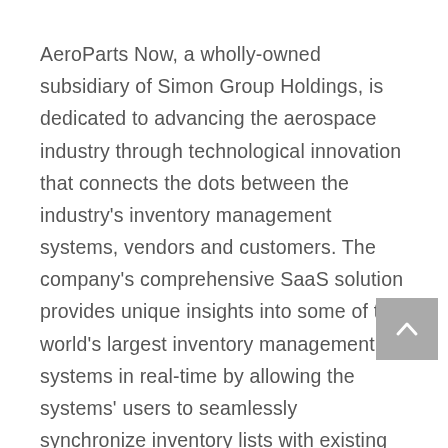AeroParts Now, a wholly-owned subsidiary of Simon Group Holdings, is dedicated to advancing the aerospace industry through technological innovation that connects the dots between the industry's inventory management systems, vendors and customers. The company's comprehensive SaaS solution provides unique insights into some of the world's largest inventory management systems in real-time by allowing the systems' users to seamlessly synchronize inventory lists with existing marketplaces. AeroParts Now's groundbreaking suite of tools set a new standard for accuracy and dependability in aerospace commerce.